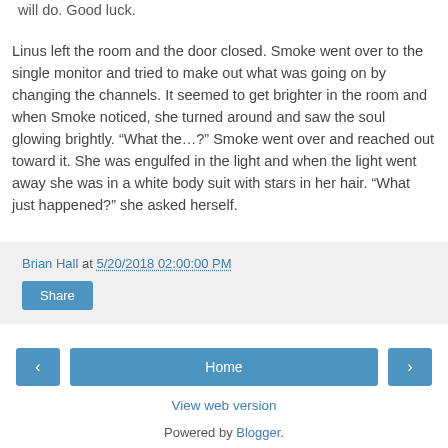will do. Good luck.
Linus left the room and the door closed. Smoke went over to the single monitor and tried to make out what was going on by changing the channels. It seemed to get brighter in the room and when Smoke noticed, she turned around and saw the soul glowing brightly. “What the…?” Smoke went over and reached out toward it. She was engulfed in the light and when the light went away she was in a white body suit with stars in her hair. “What just happened?” she asked herself.
Brian Hall at 5/20/2018 02:00:00 PM
Share
Home
View web version
Powered by Blogger.